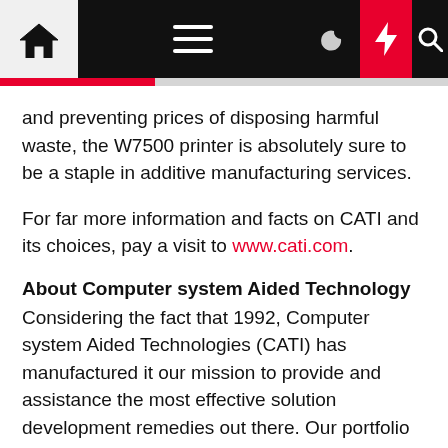[Navigation bar with home, menu, moon, lightning, search icons]
and preventing prices of disposing harmful waste, the W7500 printer is absolutely sure to be a staple in additive manufacturing services.
For far more information and facts on CATI and its choices, pay a visit to www.cati.com.
About Computer system Aided Technology
Considering the fact that 1992, Computer system Aided Technologies (CATI) has manufactured it our mission to provide and assistance the most effective solution development remedies out there. Our portfolio incorporates alternatives from SOLIDWORKS, Dassault Systèmes, Stratasys, PostProcess, DriveWorks, CAMWorks, and Creaform. We exist so our shoppers can target on what they do most effective – layout and manufacture their